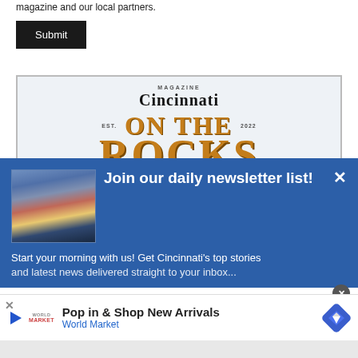magazine and our local partners.
Submit
[Figure (screenshot): Cincinnati Magazine 'On The Rocks' event branding with text: Cincinnati, EST. 2022, ON THE (partial ROCKS below)]
[Figure (infographic): Newsletter signup overlay on blue background with city bridge photo, headline 'Join our daily newsletter list!' and text 'Start your morning with us! Get Cincinnati's top stories']
Pop in & Shop New Arrivals
World Market